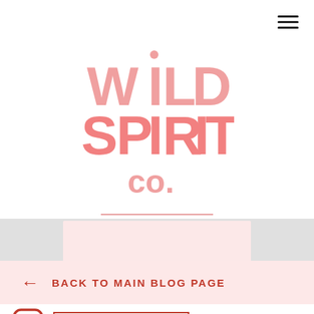[Figure (logo): Wild Spirit Co. logo in pink/salmon color, large stacked text]
← BACK TO MAIN BLOG PAGE
[Figure (logo): Instagram icon (camera outline in red) followed by @WILDSPIRITCO in red uppercase text with red border box]